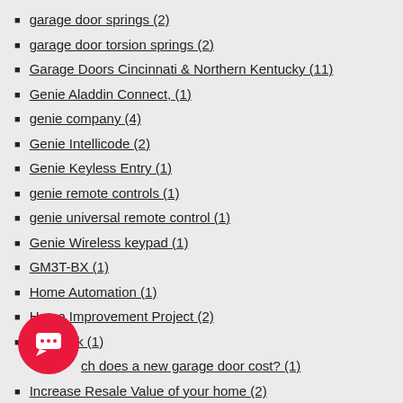garage door springs (2)
garage door torsion springs (2)
Garage Doors Cincinnati & Northern Kentucky (11)
Genie Aladdin Connect, (1)
genie company (4)
Genie Intellicode (2)
Genie Keyless Entry (1)
genie remote controls (1)
genie universal remote control (1)
Genie Wireless keypad (1)
GM3T-BX (1)
Home Automation (1)
Home Improvement Project (2)
homalink (1)
how much does a new garage door cost? (1)
Increase Resale Value of your home (2)